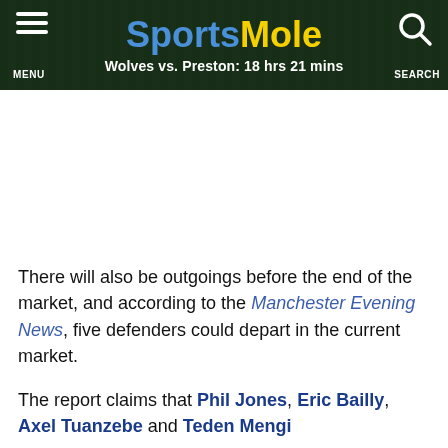Sports Mole — Wolves vs. Preston: 18 hrs 21 mins
[Figure (other): Advertisement / blank white space area]
There will also be outgoings before the end of the market, and according to the Manchester Evening News, five defenders could depart in the current market.
The report claims that Phil Jones, Eric Bailly, Axel Tuanzebe and Teden Mengi